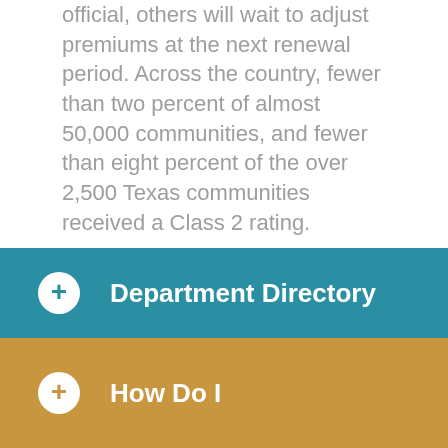official, others will wait to adjust premiums at the next renewal period. Across the country, fewer than two percent of almost 50,000 communities, and fewer than eight percent of the over 2,500 Texas communities received a Class 2 rating.
Read news release here
Previous Expansion of Frontier Park now underway
Next Great Texas Warrant Roundup begins on Feb. 25
Department Directory
How Do I